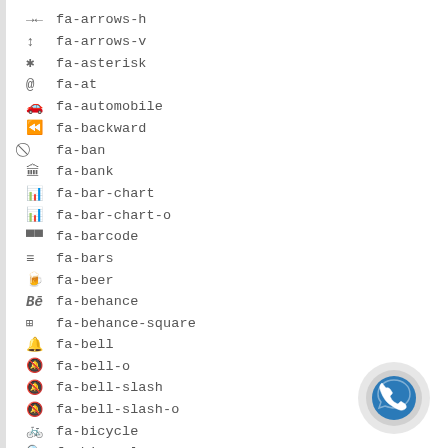fa-arrows-h
fa-arrows-v
fa-asterisk
fa-at
fa-automobile
fa-backward
fa-ban
fa-bank
fa-bar-chart
fa-bar-chart-o
fa-barcode
fa-bars
fa-beer
fa-behance
fa-behance-square
fa-bell
fa-bell-o
fa-bell-slash
fa-bell-slash-o
fa-bicycle
fa-binoculars
fa-birthday-cake